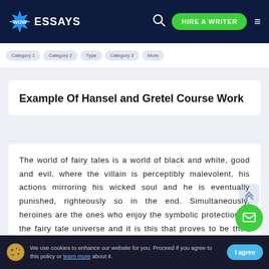WOW ESSAYS — HIRE A WRITER
Example Of Hansel and Gretel Course Work
The world of fairy tales is a world of black and white, good and evil, where the villain is perceptibly malevolent, his actions mirroring his wicked soul and he is eventually punished, righteously so in the end. Simultaneously, heroines are the ones who enjoy the symbolic protection of the fairy tale universe and it is this that proves to be their salvation, and not their own survival skills. However, one heroine rises above all of these passive damsels in distress and takes her fate in her own hands. At first, Gretel is obedient and pass…
We use cookies to enhance our website for you. Proceed if you agree to this policy or learn more about it.